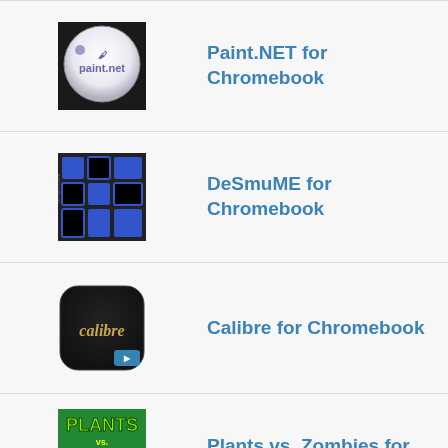Paint.NET for Chromebook
DeSmuME for Chromebook
Calibre for Chromebook
Plants vs. Zombies for Chromebook